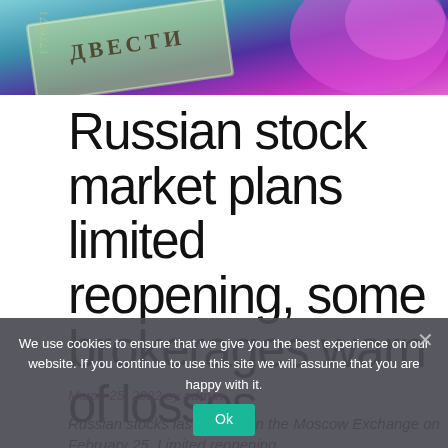[Figure (photo): Photograph of Russian currency (rubles) with Cyrillic text 'ДВЕСТИ' visible, against a colorful purple/teal background]
Russian stock market plans limited reopening, some brokerages warn of losses
March 25, 2022 by admin
Russian stocks last traded on the Moscow Exchange on February 25. Limited reopening
We use cookies to ensure that we give you the best experience on our website. If you continue to use this site we will assume that you are happy with it.